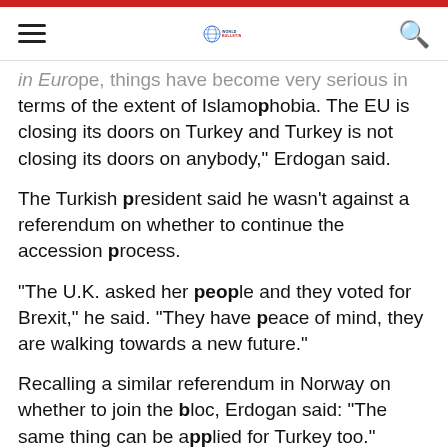World Bulletin
in Europe, things have become very serious in terms of the extent of Islamophobia. The EU is closing its doors on Turkey and Turkey is not closing its doors on anybody," Erdogan said.
The Turkish president said he wasn't against a referendum on whether to continue the accession process.
"The U.K. asked her people and they voted for Brexit," he said. "They have peace of mind, they are walking towards a new future."
Recalling a similar referendum in Norway on whether to join the bloc, Erdogan said: "The same thing can be applied for Turkey too."
The president said the EU was in a "process of